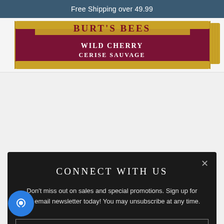Free Shipping over 49.99
[Figure (photo): Burt's Bees lip balm product showing Wild Cherry / Cerise Sauvage flavor label in maroon and gold packaging]
CONNECT WITH US
Don't miss out on sales and special promotions. Sign up for the email newsletter today! You may unsubscribe at any time.
Enter your email
SUBSCRIBE